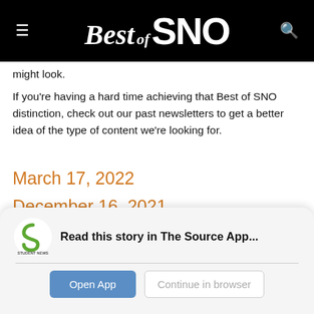Best of SNO
might look.
If you're having a hard time achieving that Best of SNO distinction, check out our past newsletters to get a better idea of the type of content we're looking for.
March 17, 2022
December 16, 2021
October 20, 2021
[Figure (logo): Student News Source app logo - green S icon with STUDENT NEWS SOURCE text below]
Read this story in The Source App...
Open App  Continue in browser